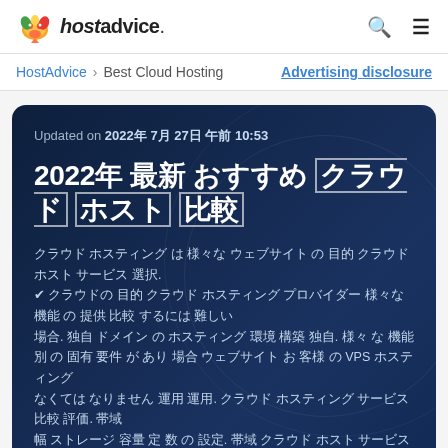[Figure (logo): HostAdvice logo with colorful bird/fish mascot icon and bold italic text 'hostadvice.' with search and menu icons]
HostAdvice > Best Cloud Hosting   Advertising disclosure
Updated on 2022年 7月 27日 午前 10:53
2022年 最新 おすすめ クラウドホスト サービス 比較・評価
クラウド ホスティング は 様々な ウェブサイト の 目的 クラウド ホスト サービス 選択. ✔ クラウドの 目的 クラウド ホスティング プロバイダー 様々な 機能 の 提供 比較 するには 難しい 場合. 独自 ドメイン の ホスティング 環境 構築 独自. 様々 な 機能 別 の 固有 要件 が あり 場合 ウェブサイト お 客様 の VPS ホスティング なくては なりません 運用 運用. クラウド ホスティング サービス 比較 評価. 帯域 幅 ストレージ 容量 定 数 の 設定. 帯域 クラウド ホスト サービス の 種 合い, 独自 クラウド ウェブ の ご 利用. 要 求,スケーラビリティ, CPU帯 域 幅 容量 クラウド ス 設定. 帯域 幅 クラウド ホスティング 設定 の 比較 比較 容量 容量 容量.